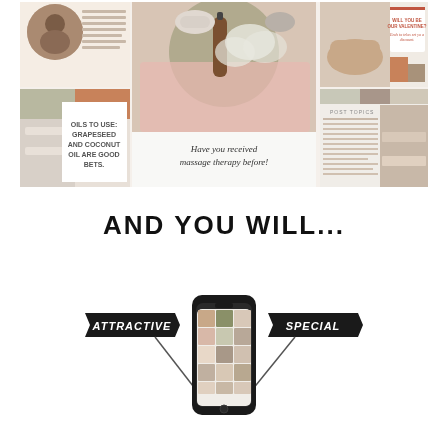[Figure (illustration): A mood board / social media content collage showing spa and massage themed Instagram posts: images of massage oils, flowers, hands, towels, with text overlays including 'OILS TO USE: GRAPESEED AND COCONUT OIL ARE GOOD BETS.' and 'Have you received massage therapy before!' and 'WILL YOU BE OUR VALENTINE?' in warm earth tones, sage green, and blush pink.]
AND YOU WILL...
[Figure (infographic): A smartphone mockup showing a social media grid feed with massage/spa content. Two black label arrows point to the phone: on the left 'ATTRACTIVE' and on the right 'SPECIAL'. Lines extend from the labels down to the phone screen.]